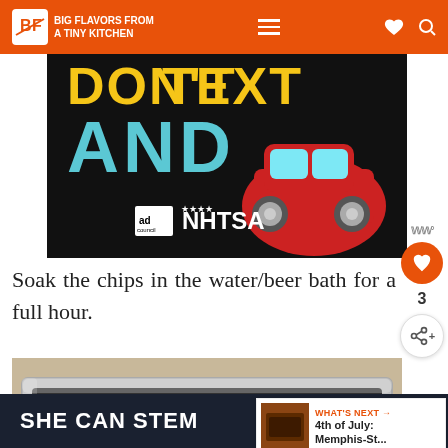BIG FLAVORS FROM A TINY KITCHEN
[Figure (photo): Anti-texting and driving advertisement by Ad Council and NHTSA showing text 'DON'T TEXT AND' with a red car emoji on black background]
Soak the chips in the water/beer bath for a full hour.
[Figure (photo): Food in an aluminum foil tray, appears to be wood chips or similar BBQ ingredients soaking]
WHAT'S NEXT → 4th of July: Memphis-St...
SHE CAN STEM